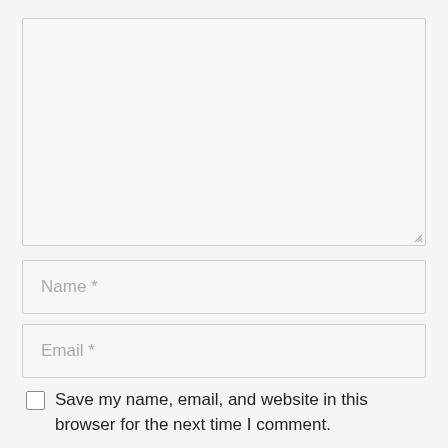[Figure (screenshot): Empty textarea input box with resize handle at bottom right corner]
Name *
Email *
Save my name, email, and website in this browser for the next time I comment.